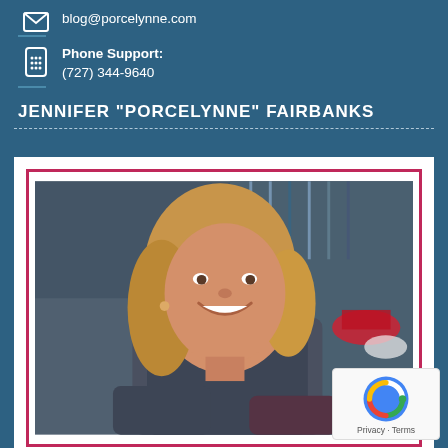blog@porcelynne.com
Phone Support: (727) 344-9640
JENNIFER "PORCELYNNE" FAIRBANKS
[Figure (photo): Photo of Jennifer 'Porcelynne' Fairbanks, a smiling woman with blonde hair in a dark grey top, standing in what appears to be a shop or studio with shelving in the background. The photo is framed with a white outer border and a pink/red inner border.]